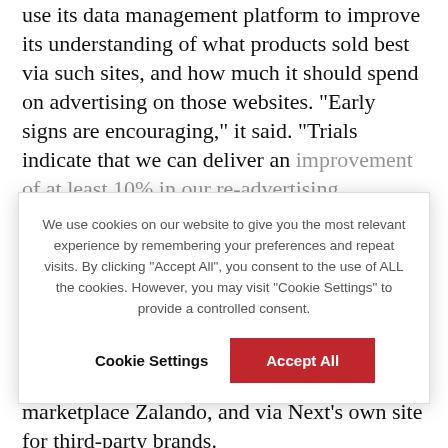use its data management platform to improve its understanding of what products sold best via such sites, and how much it should spend on advertising on those websites. "Early signs are encouraging," it said. "Trials indicate that we can deliver an improvement of at least 10% in our re-advertising...
We use cookies on our website to give you the most relevant experience by remembering your preferences and repeat visits. By clicking "Accept All", you consent to the use of ALL the cookies. However, you may visit "Cookie Settings" to provide a controlled consent.
Quiz said that it had recorded "exceptional sales when it sold both via Berlin-based European marketplace Zalando, and via Next's own site for third-party brands.
AO World built a successful UK business, ao.com,